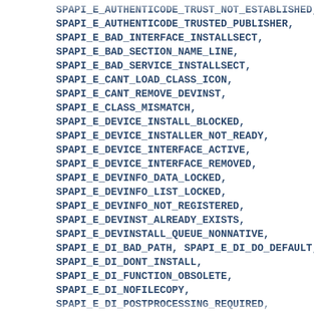SPAPI_E_AUTHENTICODE_TRUST_NOT_ESTABLISHED, SPAPI_E_AUTHENTICODE_TRUSTED_PUBLISHER, SPAPI_E_BAD_INTERFACE_INSTALLSECT, SPAPI_E_BAD_SECTION_NAME_LINE, SPAPI_E_BAD_SERVICE_INSTALLSECT, SPAPI_E_CANT_LOAD_CLASS_ICON, SPAPI_E_CANT_REMOVE_DEVINST, SPAPI_E_CLASS_MISMATCH, SPAPI_E_DEVICE_INSTALL_BLOCKED, SPAPI_E_DEVICE_INSTALLER_NOT_READY, SPAPI_E_DEVICE_INTERFACE_ACTIVE, SPAPI_E_DEVICE_INTERFACE_REMOVED, SPAPI_E_DEVINFO_DATA_LOCKED, SPAPI_E_DEVINFO_LIST_LOCKED, SPAPI_E_DEVINFO_NOT_REGISTERED, SPAPI_E_DEVINST_ALREADY_EXISTS, SPAPI_E_DEVINSTALL_QUEUE_NONNATIVE, SPAPI_E_DI_BAD_PATH, SPAPI_E_DI_DO_DEFAULT, SPAPI_E_DI_DONT_INSTALL, SPAPI_E_DI_FUNCTION_OBSOLETE, SPAPI_E_DI_NOFILECOPY, SPAPI_E_DI_POSTPROCESSING_REQUIRED, SPAPI_E_DRIVER_INSTALL_BLOCKED, SPAPI_E_DRIVER_NONNATIVE,